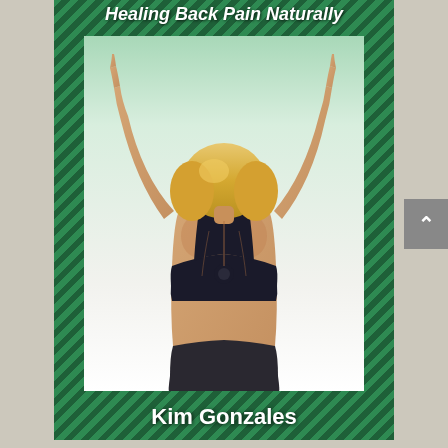Healing Back Pain Naturally
[Figure (photo): A woman with blonde hair seen from behind, wearing a black sports bra, arms raised above her head with fingers pointing upward, showing her back muscles. Book cover photo for Healing Back Pain Naturally.]
Kim Gonzales